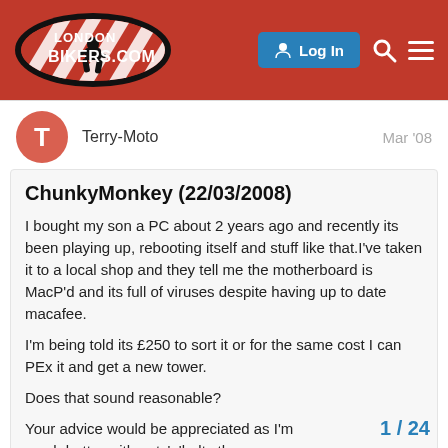[Figure (logo): LondonBikers.com logo — black oval with red/white diagonal stripes and a motorcyclist silhouette, white text reading LONDON and BIKERS.COM]
Log In [search icon] [menu icon]
Terry-Moto   Mar '08
ChunkyMonkey (22/03/2008)
I bought my son a PC about 2 years ago and recently its been playing up, rebooting itself and stuff like that.I've taken it to a local shop and they tell me the motherboard is MacP'd and its full of viruses despite having up to date macafee.
I'm being told its £250 to sort it or for the same cost I can PEx it and get a new tower.
Does that sound reasonable?
Your advice would be appreciated as I'm much better with nuts'n'bolts than megabites;) 😀
1 / 24